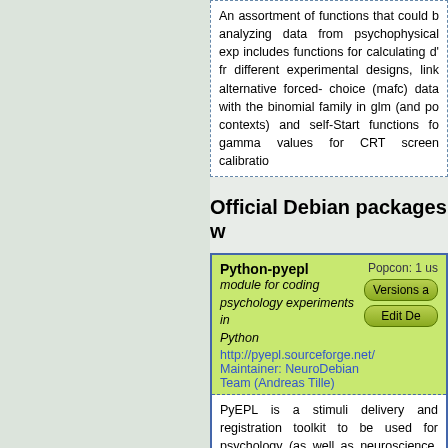An assortment of functions that could be used for analyzing data from psychophysical experiments. It includes functions for calculating d' from several different experimental designs, links for multiple alternative forced- choice (mafc) data to be used with the binomial family in glm (and possibly other contexts) and self-Start functions for estimating gamma values for CRT screen calibration.
Official Debian packages w
Python-pyepl
module for coding psychology experiments in Python
http://pyepl.sourceforge.net/
Maintainer: NeuroDebian Team (Andreas Tille)
Popcon: 1 us
Versions a
Edit De
PyEPL is a stimuli delivery and registration toolkit to be used for psychology (as well as neuroscience, research, and other) experiments.
It provides
presentation: both visual and stimuli
responses registration: both (keyboard/joystick) and sound (m time-stamped